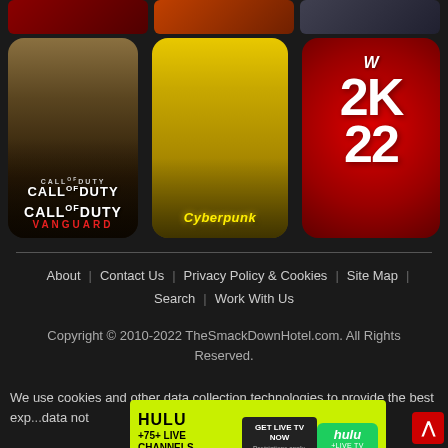[Figure (photo): Partial game thumbnails row at top: three game cover images partially visible]
[Figure (photo): Call of Duty: Vanguard game cover showing soldiers in WWII setting with game title text]
[Figure (photo): Cyberpunk 2077 game cover showing character with yellow background]
[Figure (photo): WWE 2K22 game cover showing red background with W logo and 2K22 text]
About | Contact Us | Privacy Policy & Cookies | Site Map | Search | Work With Us
Copyright © 2010-2022 TheSmackDownHotel.com. All Rights Reserved.
We use cookies and other data collection technologies to provide the best exp...data not
[Figure (screenshot): Hulu advertisement banner: HULU +75+ LIVE CHANNELS +DISNEY++ESPN+ GET LIVE TV NOW hulu+LIVE TV]